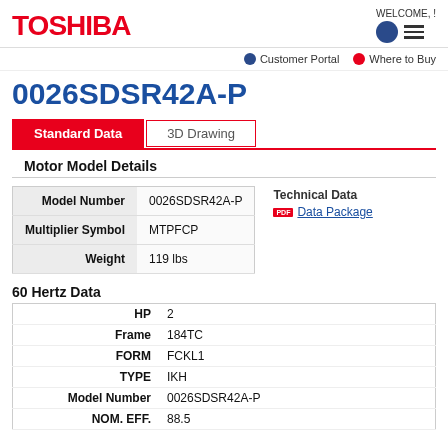TOSHIBA | WELCOME, !
Customer Portal  Where to Buy
0026SDSR42A-P
Standard Data  3D Drawing
Motor Model Details
|  |  |
| --- | --- |
| Model Number | 0026SDSR42A-P |
| Multiplier Symbol | MTPFCP |
| Weight | 119 lbs |
Technical Data
Data Package
60 Hertz Data
|  |  |
| --- | --- |
| HP | 2 |
| Frame | 184TC |
| FORM | FCKL1 |
| TYPE | IKH |
| Model Number | 0026SDSR42A-P |
| NOM. EFF. | 88.5 |